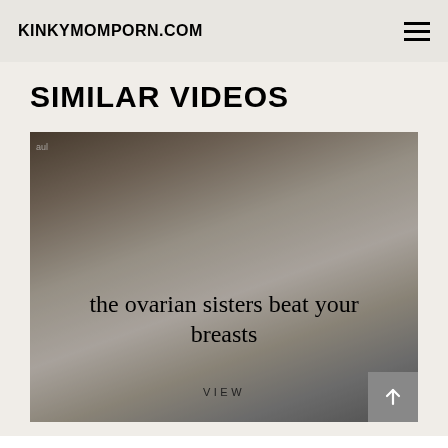KINKYMOMPORN.COM
SIMILAR VIDEOS
[Figure (photo): Video thumbnail showing a blonde woman, with overlay text 'the ovarian sisters beat your breasts' and a VIEW button]
VIEW